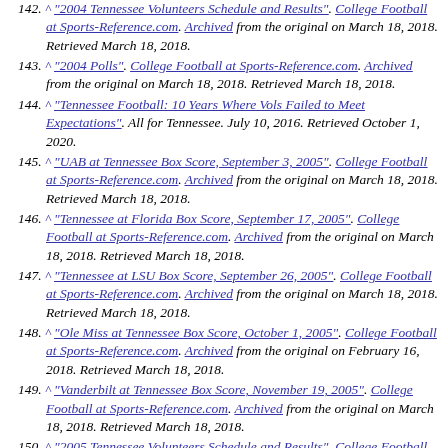142. ^ "2004 Tennessee Volunteers Schedule and Results". College Football at Sports-Reference.com. Archived from the original on March 18, 2018. Retrieved March 18, 2018.
143. ^ "2004 Polls". College Football at Sports-Reference.com. Archived from the original on March 18, 2018. Retrieved March 18, 2018.
144. ^ "Tennessee Football: 10 Years Where Vols Failed to Meet Expectations". All for Tennessee. July 10, 2016. Retrieved October 1, 2020.
145. ^ "UAB at Tennessee Box Score, September 3, 2005". College Football at Sports-Reference.com. Archived from the original on March 18, 2018. Retrieved March 18, 2018.
146. ^ "Tennessee at Florida Box Score, September 17, 2005". College Football at Sports-Reference.com. Archived from the original on March 18, 2018. Retrieved March 18, 2018.
147. ^ "Tennessee at LSU Box Score, September 26, 2005". College Football at Sports-Reference.com. Archived from the original on March 18, 2018. Retrieved March 18, 2018.
148. ^ "Ole Miss at Tennessee Box Score, October 1, 2005". College Football at Sports-Reference.com. Archived from the original on February 16, 2018. Retrieved March 18, 2018.
149. ^ "Vanderbilt at Tennessee Box Score, November 19, 2005". College Football at Sports-Reference.com. Archived from the original on March 18, 2018. Retrieved March 18, 2018.
150. ^ "2005 Tennessee Volunteers Schedule and Results". College Football at Sports-Reference.com. Archived from the